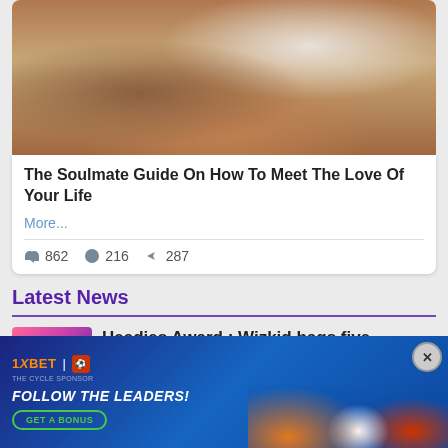[Figure (photo): A couple in an intimate pose, man kissing woman's hand, seated outdoors near brick wall]
The Soulmate Guide On How To Meet The Love Of Your Life
More...
👍 862   💬 216   ➤ 287
Latest News
[Figure (photo): Thumbnail image for Headies Award news article with colorful background]
Headies Award : Wizkid bags five
[Figure (other): 1XBET advertisement banner: FOLLOW THE LEADERS! GET A BONUS, showing football players in orange jerseys]